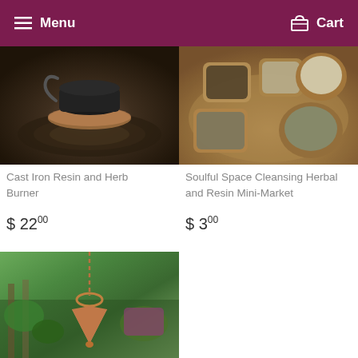Menu  Cart
[Figure (photo): Cast iron resin and herb burner on a wooden stump surface]
Cast Iron Resin and Herb Burner
$ 22 00
[Figure (photo): Various herbs and resins in wooden bowls arranged on a wicker tray]
Soulful Space Cleansing Herbal and Resin Mini-Market
$ 3 00
[Figure (photo): Copper pendulum hanging on a chain in a garden setting]